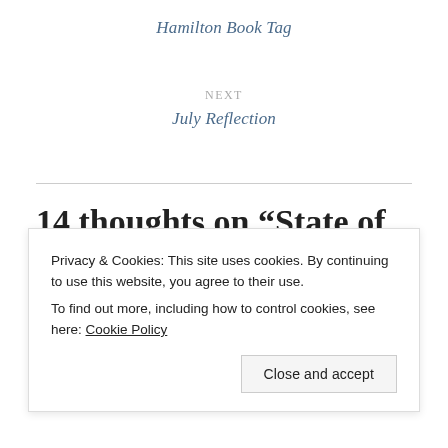Hamilton Book Tag
NEXT
July Reflection
14 thoughts on “State of the ARC: July 2019”
Privacy & Cookies: This site uses cookies. By continuing to use this website, you agree to their use.
To find out more, including how to control cookies, see here: Cookie Policy
Close and accept